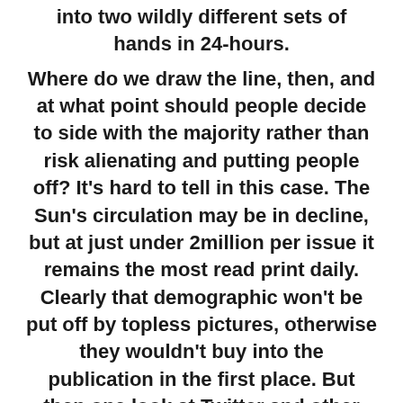into two wildly different sets of hands in 24-hours. Where do we draw the line, then, and at what point should people decide to side with the majority rather than risk alienating and putting people off? It's hard to tell in this case. The Sun's circulation may be in decline, but at just under 2million per issue it remains the most read print daily. Clearly that demographic won't be put off by topless pictures, otherwise they wouldn't buy into the publication in the first place. But then one look at Twitter and other social sites suggests the move has been a PR fail for the paper in the eyes of most Britons that don't purchase a copy. Perhaps the real question is- would non-readers turn into readers simply with the